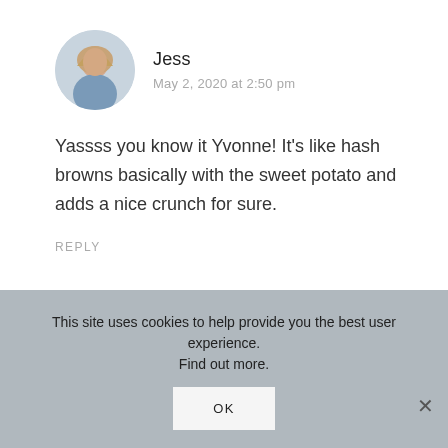[Figure (photo): Circular avatar photo of a woman with blonde hair wearing a blue top]
Jess
May 2, 2020 at 2:50 pm
Yassss you know it Yvonne! It’s like hash browns basically with the sweet potato and adds a nice crunch for sure.
REPLY
This site uses cookies to help provide you the best user experience. Find out more.
OK